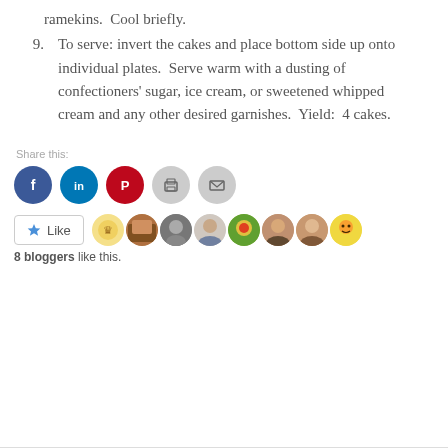ramekins.  Cool briefly.
9.  To serve: invert the cakes and place bottom side up onto individual plates.  Serve warm with a dusting of confectioners' sugar, ice cream, or sweetened whipped cream and any other desired garnishes.  Yield:  4 cakes.
Share this:
[Figure (infographic): Social sharing icons: Facebook (blue circle), LinkedIn (blue circle), Pinterest (red circle), Print (gray circle), Email (gray circle)]
[Figure (infographic): Like button with star icon, followed by avatar thumbnails of 8 bloggers who liked this post]
8 bloggers like this.